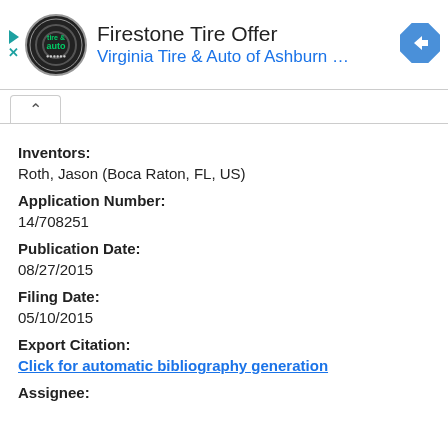[Figure (screenshot): Advertisement banner: Firestone Tire Offer by Virginia Tire & Auto of Ashburn with logo and navigation arrow icon]
Inventors:
Roth, Jason (Boca Raton, FL, US)
Application Number:
14/708251
Publication Date:
08/27/2015
Filing Date:
05/10/2015
Export Citation:
Click for automatic bibliography generation
Assignee: